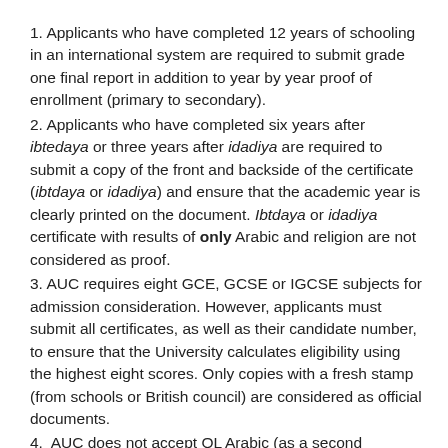1. Applicants who have completed 12 years of schooling in an international system are required to submit grade one final report in addition to year by year proof of enrollment (primary to secondary).
2. Applicants who have completed six years after ibtedaya or three years after idadiya are required to submit a copy of the front and backside of the certificate (ibtdaya or idadiya) and ensure that the academic year is clearly printed on the document. Ibtdaya or idadiya certificate with results of only Arabic and religion are not considered as proof.
3. AUC requires eight GCE, GCSE or IGCSE subjects for admission consideration. However, applicants must submit all certificates, as well as their candidate number, to ensure that the University calculates eligibility using the highest eight scores. Only copies with a fresh stamp (from schools or British council) are considered as official documents.
4.  AUC does not accept OL Arabic (as a second language) as one of the eight subjects.